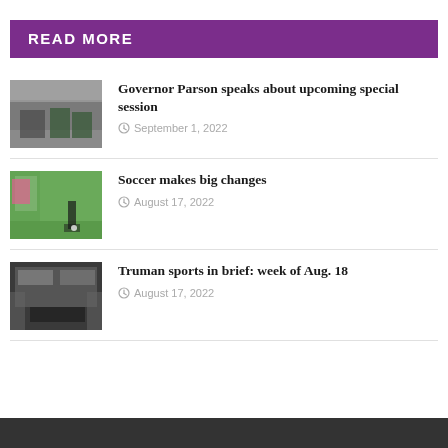READ MORE
[Figure (photo): People at an outdoor event, figures in dark green clothing]
Governor Parson speaks about upcoming special session
September 1, 2022
[Figure (photo): Soccer player in black uniform on green field with goal in background]
Soccer makes big changes
August 17, 2022
[Figure (photo): Indoor sports venue with athletes and spectators]
Truman sports in brief: week of Aug. 18
August 17, 2022